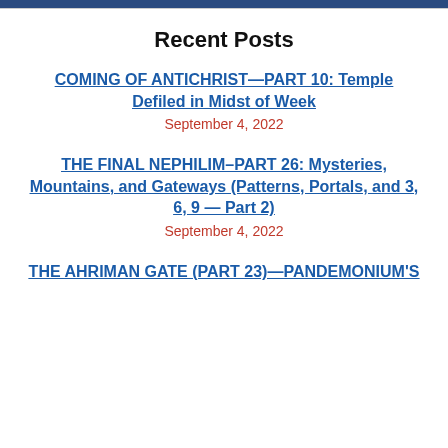Recent Posts
COMING OF ANTICHRIST—PART 10: Temple Defiled in Midst of Week
September 4, 2022
THE FINAL NEPHILIM–PART 26: Mysteries, Mountains, and Gateways (Patterns, Portals, and 3, 6, 9 — Part 2)
September 4, 2022
THE AHRIMAN GATE (PART 23)—PANDEMONIUM'S